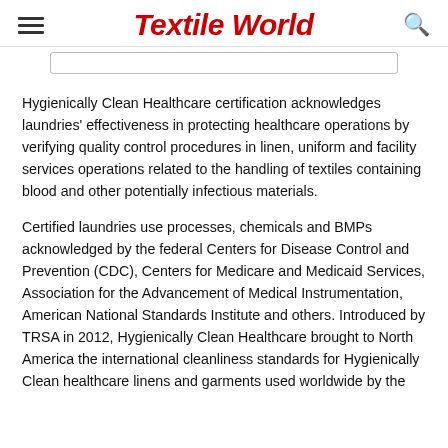Textile World
Hygienically Clean Healthcare certification acknowledges laundries' effectiveness in protecting healthcare operations by verifying quality control procedures in linen, uniform and facility services operations related to the handling of textiles containing blood and other potentially infectious materials.
Certified laundries use processes, chemicals and BMPs acknowledged by the federal Centers for Disease Control and Prevention (CDC), Centers for Medicare and Medicaid Services, Association for the Advancement of Medical Instrumentation, American National Standards Institute and others. Introduced by TRSA in 2012, Hygienically Clean Healthcare brought to North America the international cleanliness standards for Hygienically Clean healthcare linens and garments used worldwide by the